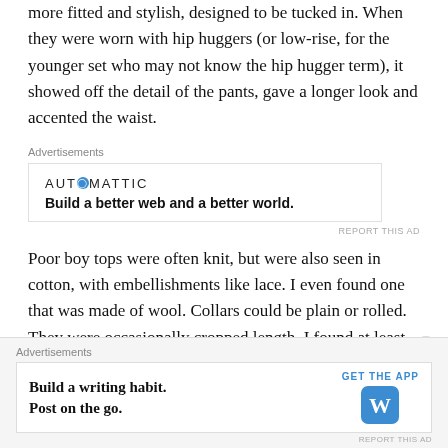more fitted and stylish, designed to be tucked in. When they were worn with hip huggers (or low-rise, for the younger set who may not know the hip hugger term), it showed off the detail of the pants, gave a longer look and accented the waist.
[Figure (other): Automattic advertisement: logo reading 'AUTOMATTIC' with a circle-O, tagline 'Build a better web and a better world.']
Poor boy tops were often knit, but were also seen in cotton, with embellishments like lace. I even found one that was made of wool. Collars could be plain or rolled. They were occasionally cropped length. I found at least one reference to poor boy dresses with dropped waistlines, but have never
[Figure (other): WordPress advertisement: 'Build a writing habit. Post on the go.' with 'GET THE APP' button and WordPress logo.]